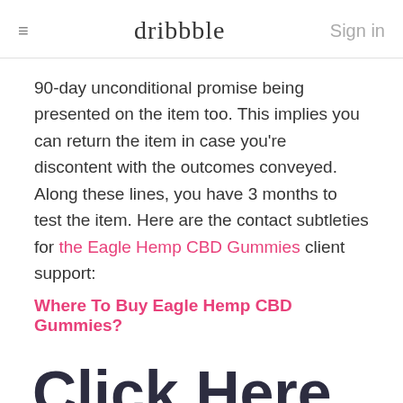dribbble | Sign in
90-day unconditional promise being presented on the item too. This implies you can return the item in case you're discontent with the outcomes conveyed. Along these lines, you have 3 months to test the item. Here are the contact subtleties for the Eagle Hemp CBD Gummies client support:
Where To Buy Eagle Hemp CBD Gummies?
Click Here To More Details :-
http://...